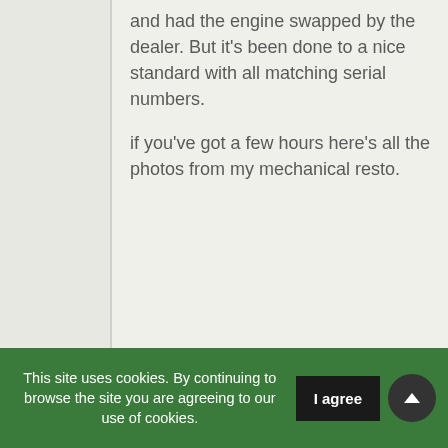and had the engine swapped by the dealer. But it's been done to a nice standard with all matching serial numbers.

if you've got a few hours here's all the photos from my mechanical resto.
This site uses cookies. By continuing to browse the site you are agreeing to our use of cookies. | I agree